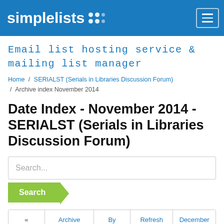simplelists
Email list hosting service & mailing list manager
Home / SERIALST (Serials in Libraries Discussion Forum) / Archive index November 2014
Date Index - November 2014 - SERIALST (Serials in Libraries Discussion Forum)
Search...
« | Archive index | By author | Refresh | December
Search